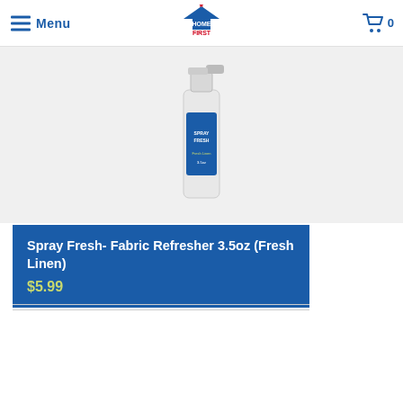Menu | HOME FIRST | Cart 0
[Figure (photo): Product image area showing a spray bottle (Spray Fresh Fabric Refresher) against a light background]
Spray Fresh- Fabric Refresher 3.5oz (Fresh Linen)
$5.99